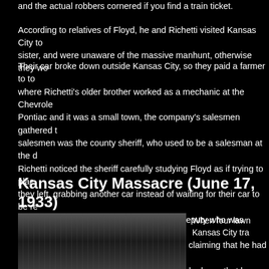and the actual robbers cornered if you find a train ticket.
According to relatives of Floyd, he and Richetti visited Kansas City to see Richetti's sister, and were unaware of the massive manhunt, otherwise they wo...
Their car broke down outside Kansas City, so they paid a farmer to to... where Richetti's older brother worked as a mechanic at the Chevrolet... Pontiac and it was a small town, the company's salesmen gathered t... salesmen was the county sheriff, who used to be a salesman at the d... Richetti noticed the sheriff carefully studying Floyd as if trying to plac... they left, grabbing another car instead of waiting for their car to be re... passer-by had noticed them and alerted a deputy who was gathering... to Kansas City, Floyd talked with the sheriff, claiming that he had nev... driven to the lifestyle by the police, and now he knew that he would b... released the sheriff and the driver of another car that night (June 16)... and Richetti were picked up by someone, likely Belulah or her sister.
Kansas City Massacre (June 17, 1933)
[Figure (photo): Black and white historical photograph related to the Kansas City Massacre]
When four lawn... Kansas City tra...